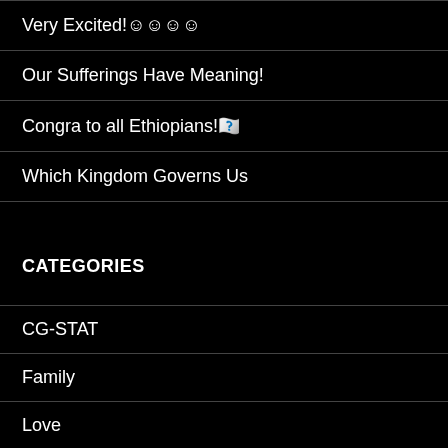Very Excited!☺☺☺☺
Our Sufferings Have Meaning!
Congra to all Ethiopians!🇪🇹
Which Kingdom Governs Us
CATEGORIES
CG-STAT
Family
Love
Marriage
Parenting
Sexual Purity